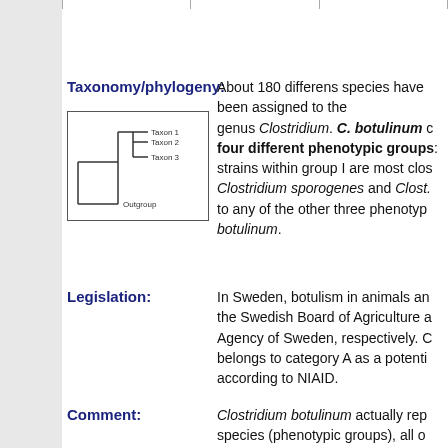|  |  |  |
| --- | --- | --- |
|  |
Taxonomy/phylogeny:
[Figure (other): Phylogenetic tree diagram showing Taxon 1, Taxon 2, Taxon 3, and Outgroup branches]
About 180 differens species have been assigned to the genus Clostridium. C. botulinum can be divided into four different phenotypic groups; strains within group I are most closely related to Clostridium sporogenes and Clost... to any of the other three phenotypic groups... botulinum.
Legislation:
In Sweden, botulism in animals an... the Swedish Board of Agriculture a... Agency of Sweden, respectively. C... belongs to category A as a potenti... according to NIAID.
Comment:
Clostridium botulinum actually rep... species (phenotypic groups), all o... of the botulinum toxin genes. The... type A. In the case of C. botulinum... taxonomy is not consistent with ph...